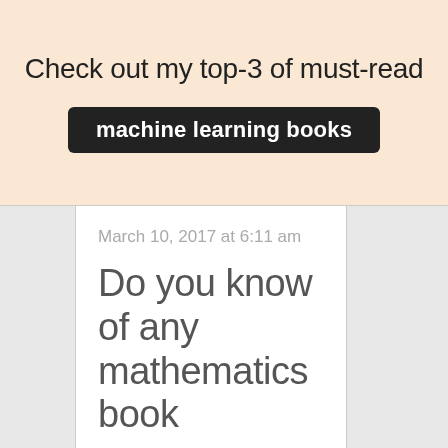Check out my top-3 of must-read
machine learning books
March 10, 2017 at 6:11 am
Do you know of any mathematics book